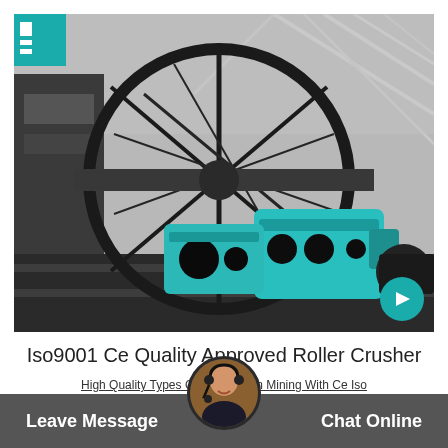[Figure (photo): Industrial roller crusher machine in a factory setting. Large cylindrical drum/wheel structure with metal frame, teal/turquoise colored crusher mechanism with drive motor, black and white tones with teal accent colors, large industrial hall background with steel trusses.]
Iso9001 Ce Quality Approved Roller Crusher
Fr... ma
High Quality Types Of Crushers In Mining With Ce Iso
Leave Message   Chat Online